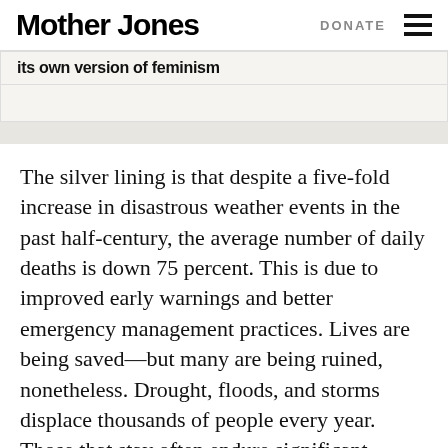Mother Jones | DONATE
its own version of feminism
The silver lining is that despite a five-fold increase in disastrous weather events in the past half-century, the average number of daily deaths is down 75 percent. This is due to improved early warnings and better emergency management practices. Lives are being saved—but many are being ruined, nonetheless. Drought, floods, and storms displace thousands of people every year. Those that stay often endure significant uninsured losses, with communities hit so hard that they slip into